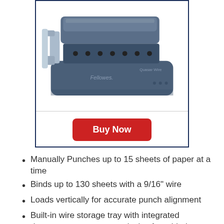[Figure (photo): Fellowes Quasar Wire binding machine - a dark blue/grey manual wire binding machine with chrome punch lever, showing the brand name 'Fellowes' and product name 'Quasar Wire' on the body.]
Buy Now
Manually Punches up to 15 sheets of paper at a time
Binds up to 130 sheets with a 9/16" wire
Loads vertically for accurate punch alignment
Built-in wire storage tray with integrated document measurement device for added